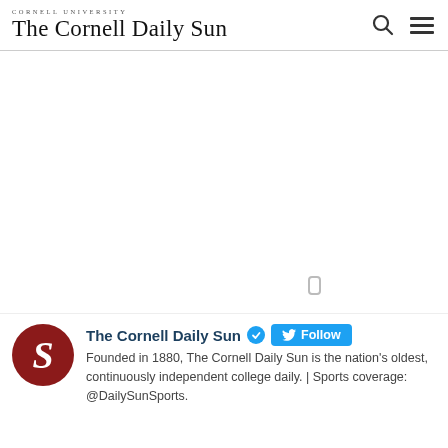The Cornell Daily Sun
[Figure (screenshot): Empty white main content area of The Cornell Daily Sun website with a small scroll indicator]
The Cornell Daily Sun ✓ Follow
Founded in 1880, The Cornell Daily Sun is the nation's oldest, continuously independent college daily. | Sports coverage: @DailySunSports.